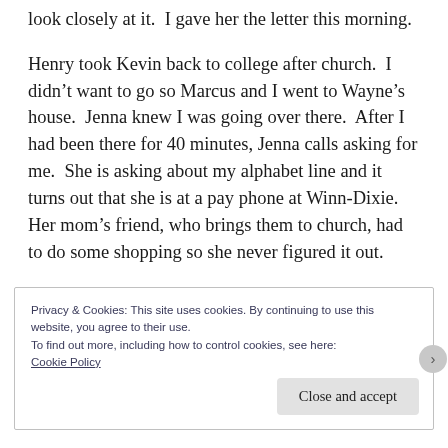look closely at it.  I gave her the letter this morning.
Henry took Kevin back to college after church.  I didn't want to go so Marcus and I went to Wayne's house.  Jenna knew I was going over there.  After I had been there for 40 minutes, Jenna calls asking for me.  She is asking about my alphabet line and it turns out that she is at a pay phone at Winn-Dixie.  Her mom's friend, who brings them to church, had to do some shopping so she never figured it out.
Privacy & Cookies: This site uses cookies. By continuing to use this website, you agree to their use.
To find out more, including how to control cookies, see here:
Cookie Policy
Close and accept